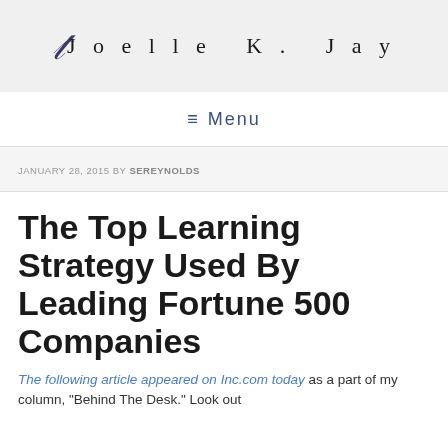Joelle K. Jay
≡ Menu
JANUARY 28, 2015 BY SEREYNOLDS
The Top Learning Strategy Used By Leading Fortune 500 Companies
The following article appeared on Inc.com today as a part of my column, "Behind The Desk." Look out...